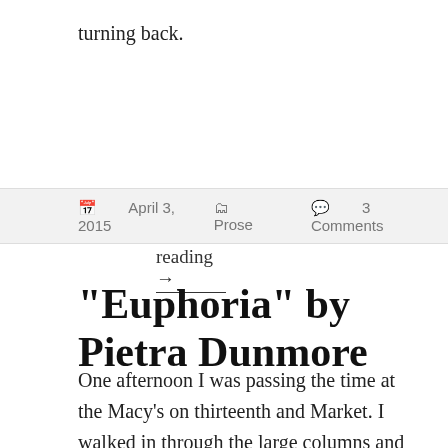turning back.
Continue reading →
April 3, 2015   Prose   3 Comments
“Euphoria” by Pietra Dunmore
One afternoon I was passing the time at the Macy’s on thirteenth and Market. I walked in through the large columns and leisurely strolled the white marble floors, passing by